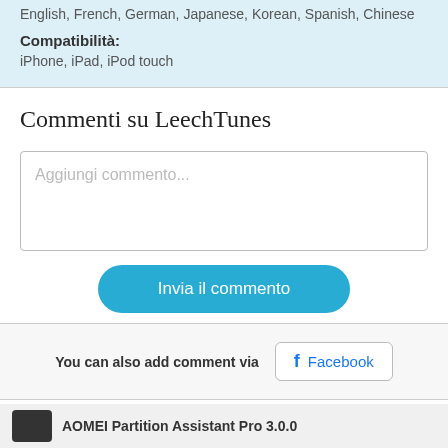English, French, German, Japanese, Korean, Spanish, Chinese
Compatibilità: iPhone, iPad, iPod touch
Commenti su LeechTunes
Aggiungi commento...
Invia il commento
You can also add comment via Facebook
AOMEI Partition Assistant Pro 3.0.0